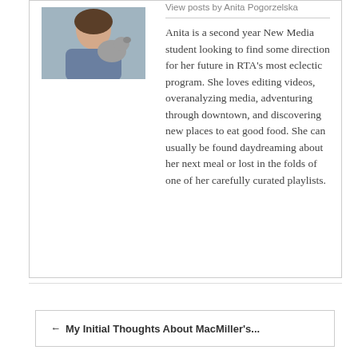[Figure (photo): Photo of Anita Pogorzelska holding a dog, partially visible at top of author card]
View posts by Anita Pogorzelska
Anita is a second year New Media student looking to find some direction for her future in RTA's most eclectic program. She loves editing videos, overanalyzing media, adventuring through downtown, and discovering new places to eat good food. She can usually be found daydreaming about her next meal or lost in the folds of one of her carefully curated playlists.
← My Initial Thoughts About MacMiller's...